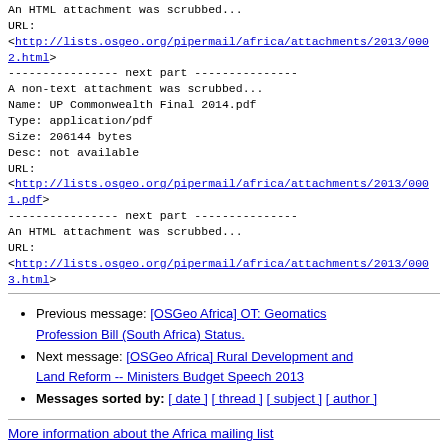An HTML attachment was scrubbed...
URL:
<http://lists.osgeo.org/pipermail/africa/attachments/2013/0002.html>
---------------- next part ---------------
A non-text attachment was scrubbed...
Name: UP Commonwealth Final 2014.pdf
Type: application/pdf
Size: 206144 bytes
Desc: not available
URL:
<http://lists.osgeo.org/pipermail/africa/attachments/2013/0001.pdf>
---------------- next part ---------------
An HTML attachment was scrubbed...
URL:
<http://lists.osgeo.org/pipermail/africa/attachments/2013/0003.html>
Previous message: [OSGeo Africa] OT: Geomatics Profession Bill (South Africa) Status.
Next message: [OSGeo Africa] Rural Development and Land Reform -- Ministers Budget Speech 2013
Messages sorted by: [ date ] [ thread ] [ subject ] [ author ]
More information about the Africa mailing list